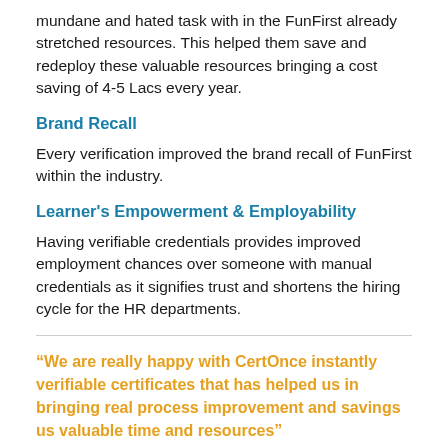mundane and hated task with in the FunFirst already stretched resources. This helped them save and redeploy these valuable resources bringing a cost saving of 4-5 Lacs every year.
Brand Recall
Every verification improved the brand recall of FunFirst within the industry.
Learner's Empowerment & Employability
Having verifiable credentials provides improved employment chances over someone with manual credentials as it signifies trust and shortens the hiring cycle for the HR departments.
“We are really happy with CertOnce instantly verifiable certificates that has helped us in bringing real process improvement and savings us valuable time and resources”